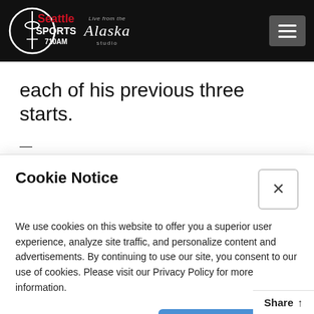[Figure (logo): Seattle Sports 710AM logo with Space Needle icon and Alaska Airlines studio branding on black header bar with hamburger menu button]
each of his previous three starts.
--
Cookie Notice
We use cookies on this website to offer you a superior user experience, analyze site traffic, and personalize content and advertisements. By continuing to use our site, you consent to our use of cookies. Please visit our Privacy Policy for more information.
Continue
Share